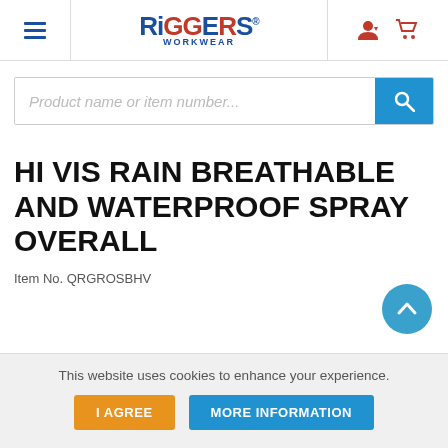[Figure (logo): Riggers Workwear logo with blue and red text, hamburger menu icon, user icon, and cart icon in site header navigation]
Product name or item number...
HI VIS RAIN BREATHABLE AND WATERPROOF SPRAY OVERALL
Item No. QRGROSBHV
This website uses cookies to enhance your experience.
I AGREE
MORE INFORMATION